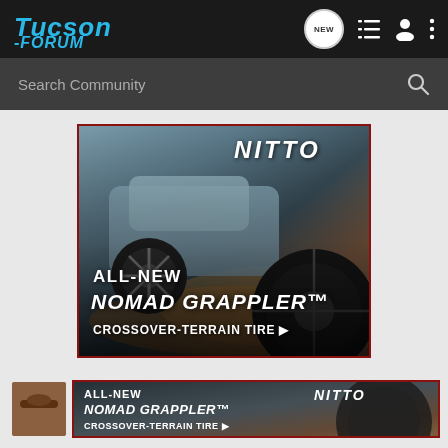Tucson-Forum
Search Community
[Figure (advertisement): Nitto Tire advertisement showing SUV off-road with text: ALL-NEW NOMAD GRAPPLER CROSSOVER-TERRAIN TIRE]
[Figure (advertisement): Second smaller Nitto Tire advertisement: ALL-NEW NOMAD GRAPPLER CROSSOVER-TERRAIN TIRE]